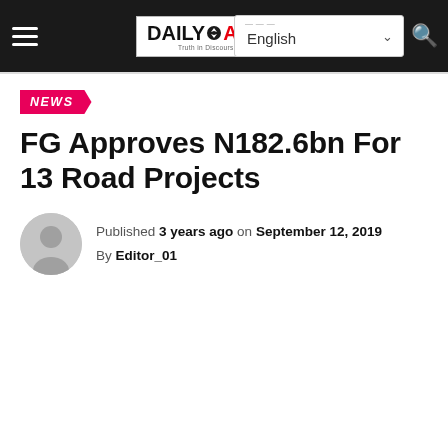Daily Asset — English language selector
NEWS
FG Approves N182.6bn For 13 Road Projects
Published 3 years ago on September 12, 2019 By Editor_01